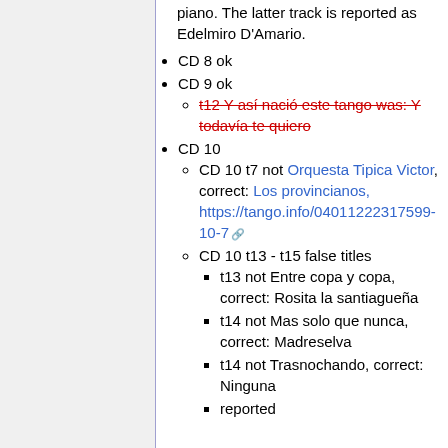piano. The latter track is reported as Edelmiro D'Amario.
CD 8 ok
CD 9 ok
t12 Y así nació este tango was: Y todavía te quiero [strikethrough red]
CD 10
CD 10 t7 not Orquesta Tipica Victor, correct: Los provincianos, https://tango.info/04011222317599-10-7
CD 10 t13 - t15 false titles
t13 not Entre copa y copa, correct: Rosita la santiagueña
t14 not Mas solo que nunca, correct: Madreselva
t14 not Trasnochando, correct: Ninguna
reported